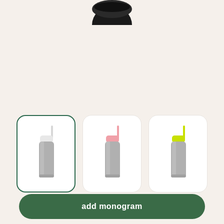[Figure (photo): Partial top view of a dark-colored bottle at the very top of the page]
[Figure (photo): Three stainless steel water bottles side by side: first with white/cloud lid (selected, dark green border), second with pink lid, third with yellow-green lid]
chrome silver / cloud
add monogram